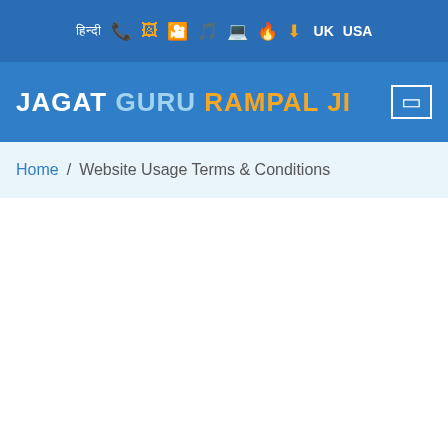हिन्दी  📞  🖼  📹  🎵  🖥  🔥  ⬇  UK  USA
JAGAT GURU RAMPAL JI
Home / Website Usage Terms & Conditions